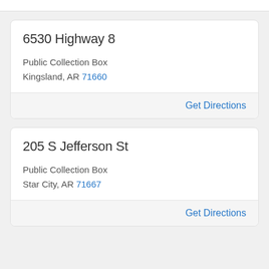6530 Highway 8
Public Collection Box
Kingsland, AR 71660
Get Directions
205 S Jefferson St
Public Collection Box
Star City, AR 71667
Get Directions